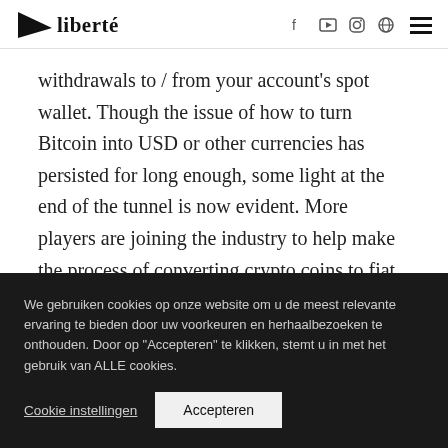liberté
withdrawals to / from your account's spot wallet. Though the issue of how to turn Bitcoin into USD or other currencies has persisted for long enough, some light at the end of the tunnel is now evident. More players are joining the industry to help make the process of converting crypto coins to fiat or vice versa prompt, direct, and reliable.
We gebruiken cookies op onze website om u de meest relevante ervaring te bieden door uw voorkeuren en herhaalbezoeken te onthouden. Door op "Accepteren" te klikken, stemt u in met het gebruik van ALLE cookies.
Cookie instellingen  Accepteren